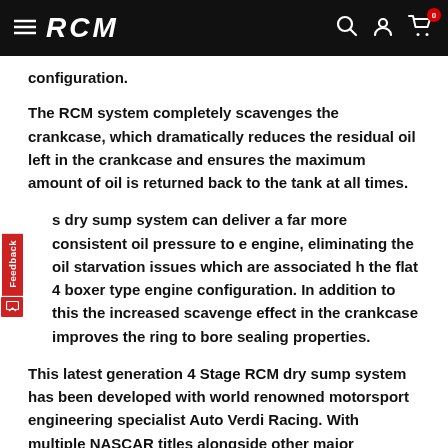RCM navigation header with logo, search, account, and cart icons
configuration.
The RCM system completely scavenges the crankcase, which dramatically reduces the residual oil left in the crankcase and ensures the maximum amount of oil is returned back to the tank at all times.
s dry sump system can deliver a far more consistent oil pressure to e engine, eliminating the oil starvation issues which are associated h the flat 4 boxer type engine configuration. In addition to this the increased scavenge effect in the crankcase improves the ring to bore sealing properties.
This latest generation 4 Stage RCM dry sump system has been developed with world renowned motorsport engineering specialist Auto Verdi Racing. With multiple NASCAR titles alongside other major championship series already won using Auto Verdi components, this